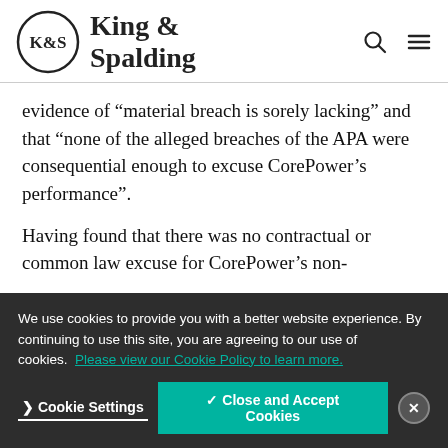King & Spalding
evidence of “material breach is sorely lacking” and that “none of the alleged breaches of the APA were consequential enough to excuse CorePower’s performance”.
Having found that there was no contractual or common law excuse for CorePower’s non-
We use cookies to provide you with a better website experience. By continuing to use this site, you are agreeing to our use of cookies. Please view our Cookie Policy to learn more.
Cookie Settings  ✓ Close and Accept Cookies